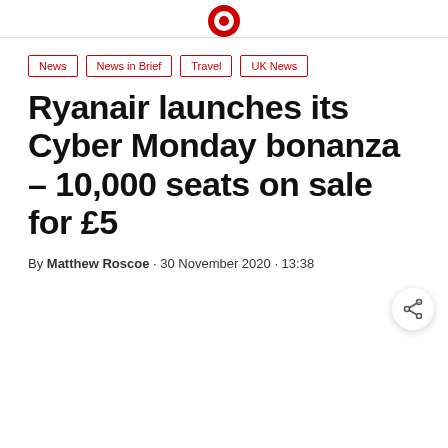News
News in Brief
Travel
UK News
Ryanair launches its Cyber Monday bonanza – 10,000 seats on sale for £5
By Matthew Roscoe · 30 November 2020 · 13:38